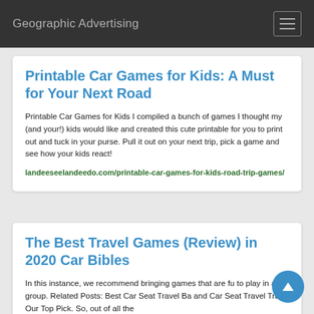Geographic Advertising
Printable Car Games for Kids: A Must for Your Next Road
Printable Car Games for Kids I compiled a bunch of games I thought my (and your!) kids would like and created this cute printable for you to print out and tuck in your purse. Pull it out on your next trip, pick a game and see how your kids react!
landeeseelandeedo.com/printable-car-games-for-kids-road-trip-games/
The Best Travel Games (Review) in 2020 Car Bibles
In this instance, we recommend bringing games that are fu to play in a group. Related Posts: Best Car Seat Travel Ba and Car Seat Travel Tray. Our Top Pick. So, out of all the